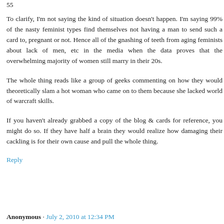55
To clarify, I'm not saying the kind of situation doesn't happen. I'm saying 99% of the nasty feminist types find themselves not having a man to send such a card to, pregnant or not. Hence all of the gnashing of teeth from aging feminists about lack of men, etc in the media when the data proves that the overwhelming majority of women still marry in their 20s.
The whole thing reads like a group of geeks commenting on how they would theoretically slam a hot woman who came on to them because she lacked world of warcraft skills.
If you haven't already grabbed a copy of the blog & cards for reference, you might do so. If they have half a brain they would realize how damaging their cackling is for their own cause and pull the whole thing.
Reply
Anonymous · July 2, 2010 at 12:34 PM